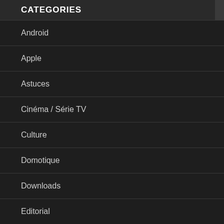CATEGORIES
Android
Apple
Astuces
Cinéma / Série TV
Culture
Domotique
Downloads
Editorial
Fun
Gaming